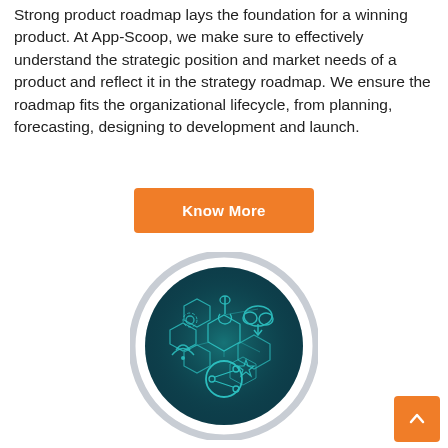Strong product roadmap lays the foundation for a winning product. At App-Scoop, we make sure to effectively understand the strategic position and market needs of a product and reflect it in the strategy roadmap. We ensure the roadmap fits the organizational lifecycle, from planning, forecasting, designing to development and launch.
[Figure (other): Orange rounded rectangle button labeled 'Know More']
[Figure (illustration): Circular illustration with a dark teal/green background showing connected technology icons including hexagons, cloud, wifi, share/network icons, representing a tech product roadmap or connectivity concept. Surrounded by a light grey outer ring.]